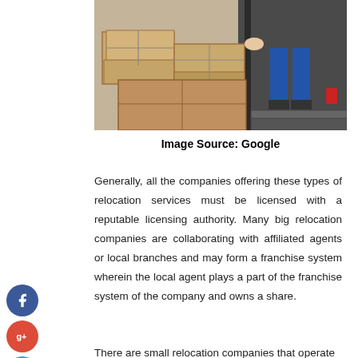[Figure (photo): A person in blue work uniform loading cardboard boxes into the back of a moving van/truck. Multiple stacked brown boxes visible.]
Image Source: Google
Generally, all the companies offering these types of relocation services must be licensed with a reputable licensing authority. Many big relocation companies are collaborating with affiliated agents or local branches and may form a franchise system wherein the local agent plays a part of the franchise system of the company and owns a share.
There are small relocation companies that operate